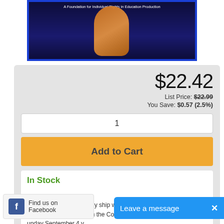[Figure (photo): Product image - blue DVD/Blu-ray case with orange figure, text reads 'A Foundation for Individual Rights in Education Production']
$22.42
List Price: $22.99
You Save: $0.57 (2.5%)
1
Add to Cart
In Stock
Moviezyng orders typically ship within 1-3 Business ... pect delivery anywhere in the Continental ... unday September 4 v
Find us on Facebook
Leave a message